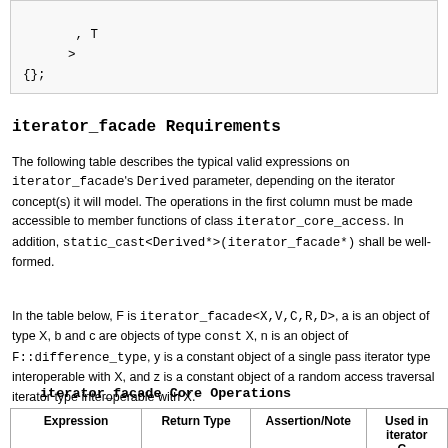[Figure (screenshot): Code block showing template code with ', T', '>', and '{};' lines]
iterator_facade Requirements
The following table describes the typical valid expressions on iterator_facade's Derived parameter, depending on the iterator concept(s) it will model. The operations in the first column must be made accessible to member functions of class iterator_core_access. In addition, static_cast<Derived*>(iterator_facade*) shall be well-formed.
In the table below, F is iterator_facade<X,V,C,R,D>, a is an object of type X, b and c are objects of type const X, n is an object of F::difference_type, y is a constant object of a single pass iterator type interoperable with X, and z is a constant object of a random access traversal iterator type interoperable with X.
iterator_facade Core Operations
| Expression | Return Type | Assertion/Note | Used in iterator Concept |
| --- | --- | --- | --- |
| a.dereference() | Expr for ... |  |  |